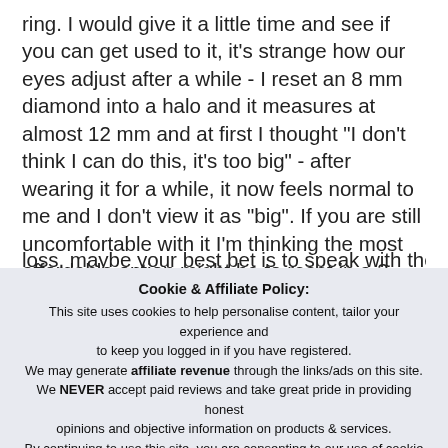ring. I would give it a little time and see if you can get used to it, it's strange how our eyes adjust after a while - I reset an 8 mm diamond into a halo and it measures at almost 12 mm and at first I thought "I don't think I can do this, it's too big" - after wearing it for a while, it now feels normal to me and I don't view it as "big". If you are still uncomfortable with it I'm thinking the most affordable option might be to reset in a 3 stone, using the traps you already have. Maybe you could have a band made with some of the diamonds in your halo. Unfortunately any change you make is going to involve taking a loss, maybe your best bet is to speak with the jeweler and find
Cookie & Affiliate Policy: This site uses cookies to help personalise content, tailor your experience and to keep you logged in if you have registered. We may generate affiliate revenue through the links/ads on this site. We NEVER accept paid reviews and take great pride in providing honest opinions and objective information on products & services. By continuing to use this site, you are consenting to our use of cookie policy.